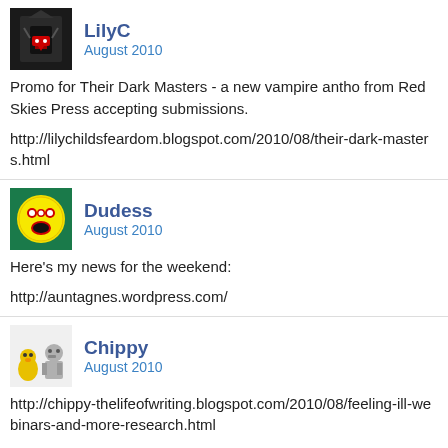[Figure (illustration): Avatar for LilyC: dark/black background with vampire-like illustration]
LilyC
August 2010
Promo for Their Dark Masters - a new vampire antho from Red Skies Press accepting submissions.
http://lilychildsfeardom.blogspot.com/2010/08/their-dark-masters.html
[Figure (illustration): Avatar for Dudess: green background with red/yellow emoji-like face]
Dudess
August 2010
Here's my news for the weekend:
http://auntagnes.wordpress.com/
[Figure (illustration): Avatar for Chippy: two small character icons, yellow robot and grey figure]
Chippy
August 2010
http://chippy-thelifeofwriting.blogspot.com/2010/08/feeling-ill-webinars-and-more-research.html
another post